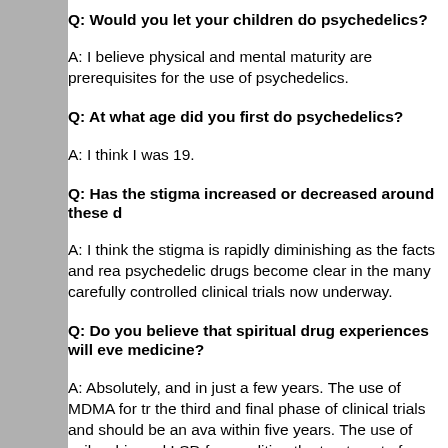Q: Would you let your children do psychedelics?
A: I believe physical and mental maturity are prerequisites for the use of psychedelics.
Q: At what age did you first do psychedelics?
A: I think I was 19.
Q: Has the stigma increased or decreased around these d…
A: I think the stigma is rapidly diminishing as the facts and reality of psychedelic drugs become clear in the many carefully controlled clinical trials now underway.
Q: Do you believe that spiritual drug experiences will ever be part of medicine?
A: Absolutely, and in just a few years. The use of MDMA for tr… the third and final phase of clinical trials and should be an available treatment within five years. The use of psilocybin and LSD for conditions like the treatment of depression, among other things, is not far behind. As I mentioned, the healing these drugs provide is because of the experiences they provide, not the direct chemical effects. As these drugs become available they will inevitably be used not just for life threatening mental…